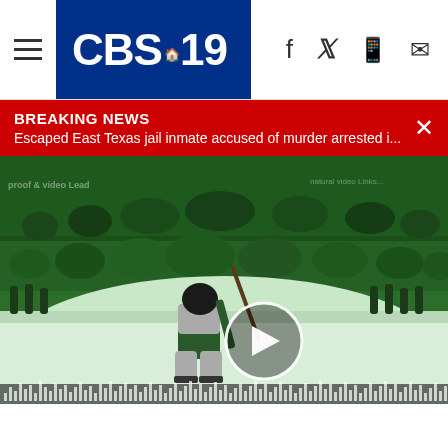CBS 19 News
BREAKING NEWS
Escaped East Texas jail inmate accused of murder arrested i...
[Figure (screenshot): Video player showing a Dallas Stars hockey goalie on the ice rink with a crowd in the background; a circular play button overlay is centered on the video; audio waveform bars visible at the bottom]